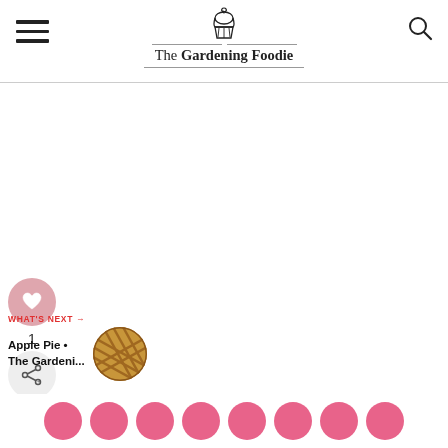The Gardening Foodie
[Figure (illustration): Cupcake logo icon with decorative lines on either side, above the site name]
[Figure (illustration): Heart/like button (pink circle with heart icon), count '1', and share button (light circle with share icon)]
1
[Figure (photo): Small circular thumbnail of an apple pie with lattice crust]
WHAT'S NEXT → Apple Pie • The Gardeni...
[Figure (infographic): Row of pink social media icon circles at the bottom of the page]